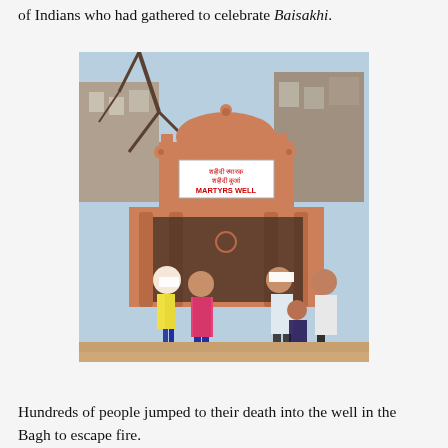of Indians who had gathered to celebrate Baisakhi.
[Figure (photo): Photograph of the Martyrs Well (Jallianwala Bagh) memorial structure in Amritsar, India. A terracotta-pink domed pavilion with columns and a sign reading 'MARTYRS WELL' in Hindi and English. People are walking in front of the building.]
Hundreds of people jumped to their death into the well in the Bagh to escape fire.